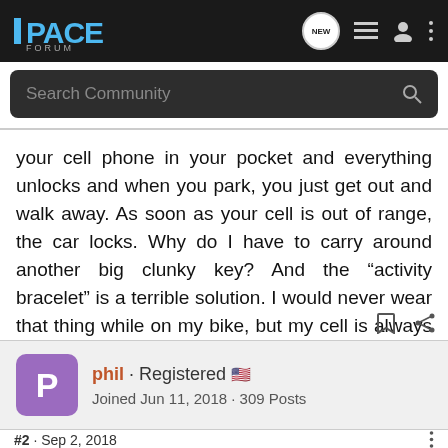I-PACE FORUM
Search Community
your cell phone in your pocket and everything unlocks and when you park, you just get out and walk away. As soon as your cell is out of range, the car locks. Why do I have to carry around another big clunky key? And the “activity bracelet” is a terrible solution. I would never wear that thing while on my bike, but my cell is always in my back jersey pocket. Does anyone think this could be a software upgrade in the future?
phil · Registered
Joined Jun 11, 2018 · 309 Posts
#2 · Sep 2, 2018